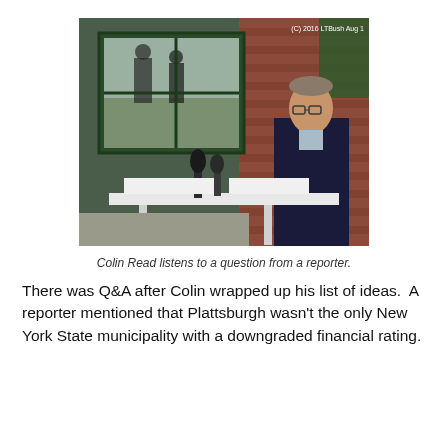[Figure (photo): A man in a dark suit stands at a table with microphones in an indoor venue with a brick wall and large window behind him. People are visible through the window outside. Copyright notice: (C) 2016 LTBush Aug 1]
Colin Read listens to a question from a reporter.
There was Q&A after Colin wrapped up his list of ideas.  A reporter mentioned that Plattsburgh wasn't the only New York State municipality with a downgraded financial rating.